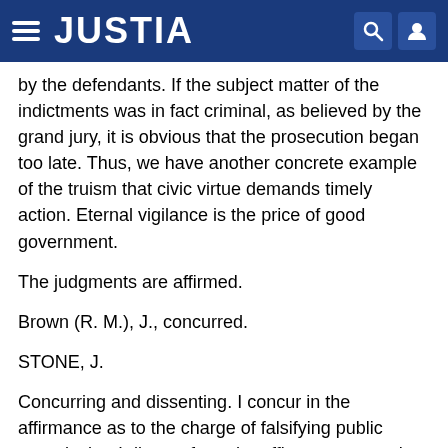JUSTIA
by the defendants. If the subject matter of the indictments was in fact criminal, as believed by the grand jury, it is obvious that the prosecution began too late. Thus, we have another concrete example of the truism that civic virtue demands timely action. Eternal vigilance is the price of good government.
The judgments are affirmed.
Brown (R. M.), J., concurred.
STONE, J.
Concurring and dissenting. I concur in the affirmance as to the charge of falsifying public records, but I dissent from the affirmance as to the conspiracy charge.
As I view the case, the "rigged bid" was not the primary object of the conspiracy. This was a business conspiracy